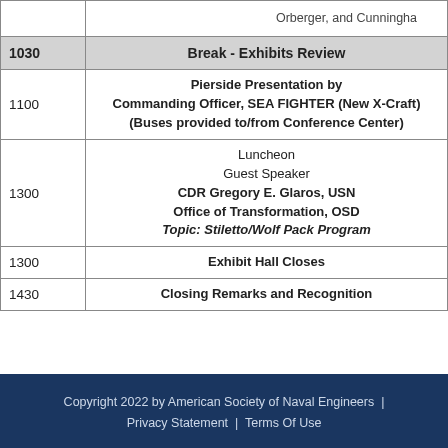| Time | Event |
| --- | --- |
|  | Orberger, and Cunningha... |
| 1030 | Break - Exhibits Review |
| 1100 | Pierside Presentation by
Commanding Officer, SEA FIGHTER (New X-Craft)
(Buses provided to/from Conference Center) |
| 1300 | Luncheon
Guest Speaker
CDR Gregory E. Glaros, USN
Office of Transformation, OSD
Topic: Stiletto/Wolf Pack Program |
| 1300 | Exhibit Hall Closes |
| 1430 | Closing Remarks and Recognition |
Copyright 2022 by American Society of Naval Engineers | Privacy Statement | Terms Of Use